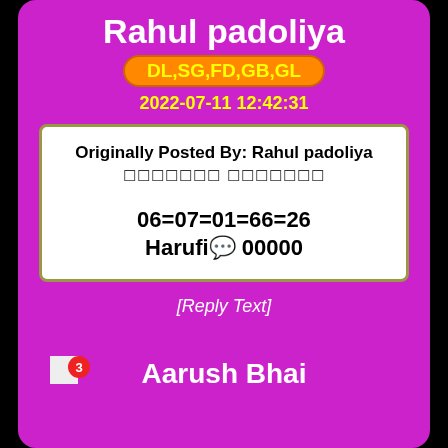Rahul padoliya
DL,SG,FD,GB,GL
2022-07-11 12:42:31
Originally Posted By: Rahul padoliya
aaaaaaa aaaaaaa
06=07=01=66=26
Harufi 00000
[Reply Text]
Aarush Bhai